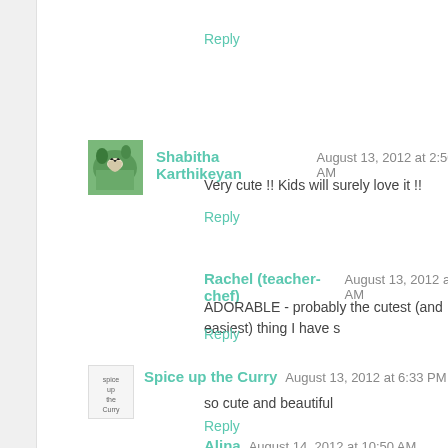Reply
Shabitha Karthikeyan  August 13, 2012 at 2:50 AM
Very cute !! Kids will surely love it !!
Reply
Rachel (teacher-chef)  August 13, 2012 at 2:53 AM
ADORABLE - probably the cutest (and easiest) thing I have s
Reply
Spice up the Curry  August 13, 2012 at 6:33 PM
so cute and beautiful
Reply
Alina  August 14, 2012 at 10:50 AM
Truly adorable - Smita, u're one talented lady with unlimit